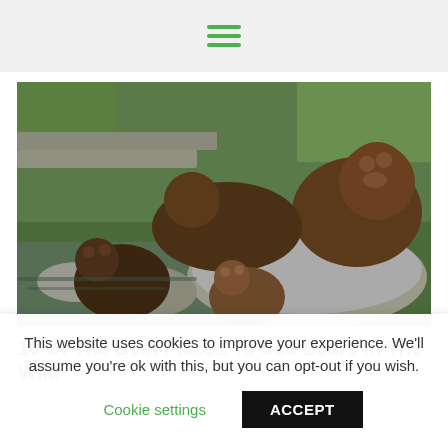Hamburger menu icon
[Figure (photo): Group of brown bears resting on rocks near water in a natural/zoo environment. Multiple bears including adults and cubs.]
10 Of The Best Places To See Bears In The Wild
This website uses cookies to improve your experience. We'll assume you're ok with this, but you can opt-out if you wish.
Cookie settings   ACCEPT